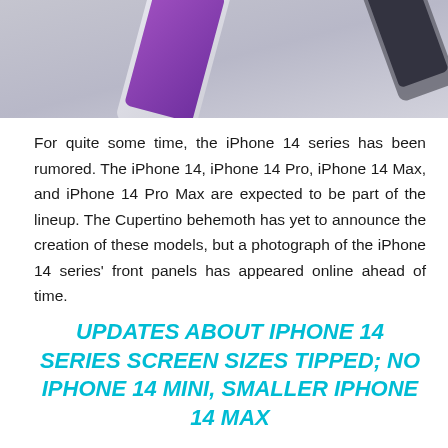[Figure (photo): Partial view of iPhone 14 mockup/render showing a purple-screened phone against a light gray background, cropped at the top]
For quite some time, the iPhone 14 series has been rumored. The iPhone 14, iPhone 14 Pro, iPhone 14 Max, and iPhone 14 Pro Max are expected to be part of the lineup. The Cupertino behemoth has yet to announce the creation of these models, but a photograph of the iPhone 14 series' front panels has appeared online ahead of time.
UPDATES ABOUT IPHONE 14 SERIES SCREEN SIZES TIPPED; NO IPHONE 14 MINI, SMALLER IPHONE 14 MAX